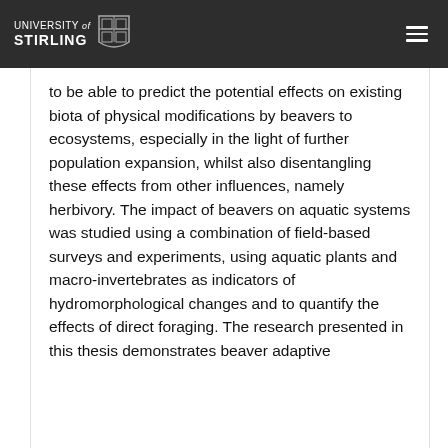UNIVERSITY of STIRLING
to be able to predict the potential effects on existing biota of physical modifications by beavers to ecosystems, especially in the light of further population expansion, whilst also disentangling these effects from other influences, namely herbivory. The impact of beavers on aquatic systems was studied using a combination of field-based surveys and experiments, using aquatic plants and macro-invertebrates as indicators of hydromorphological changes and to quantify the effects of direct foraging. The research presented in this thesis demonstrates beaver adaptive